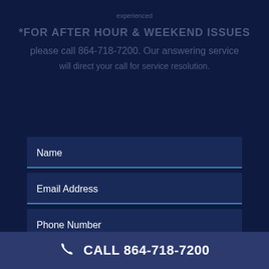experienced
*FOR AFTER HOUR & WEEKEND ISSUES please call 864-718-7200. Our answering service will direct your call for service resolution.
Name
Email Address
Phone Number
CALL 864-718-7200